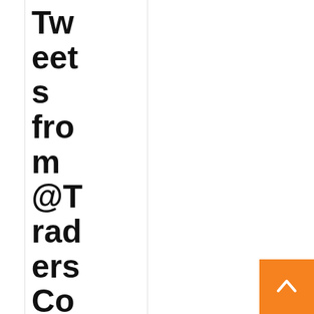Tweets from @TradersCom
[Figure (photo): Profile photo of a person in a suit, circular crop]
Indeed
#n...